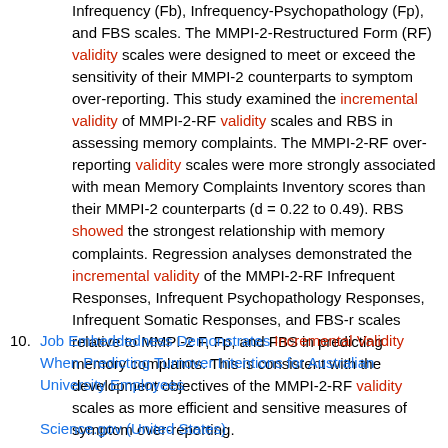Infrequency (Fb), Infrequency-Psychopathology (Fp), and FBS scales. The MMPI-2-Restructured Form (RF) validity scales were designed to meet or exceed the sensitivity of their MMPI-2 counterparts to symptom over-reporting. This study examined the incremental validity of MMPI-2-RF validity scales and RBS in assessing memory complaints. The MMPI-2-RF over-reporting validity scales were more strongly associated with mean Memory Complaints Inventory scores than their MMPI-2 counterparts (d = 0.22 to 0.49). RBS showed the strongest relationship with memory complaints. Regression analyses demonstrated the incremental validity of the MMPI-2-RF Infrequent Responses, Infrequent Psychopathology Responses, Infrequent Somatic Responses, and FBS-r scales relative to MMPI-2 F, Fp, and FBS in predicting memory complaints. This is consistent with the development objectives of the MMPI-2-RF validity scales as more efficient and sensitive measures of symptom over-reporting.
10. Job Embeddedness Demonstrates Incremental Validity When Predicting Turnover Intentions for Australian University Employees
Science.gov (United States)